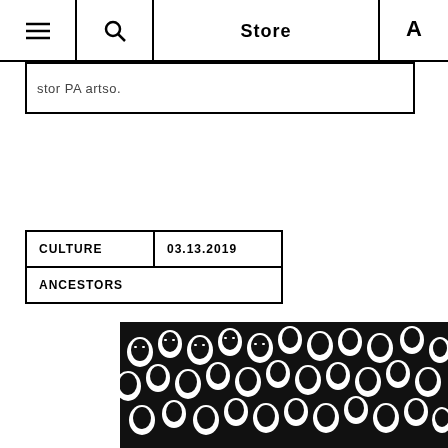Store A
stor PA artso.
| CULTURE | 03.13.2019 |
| --- | --- |
| ANCESTORS |  |
[Figure (photo): Black and white high-contrast photo of a large crowd of people, faces visible, densely packed]